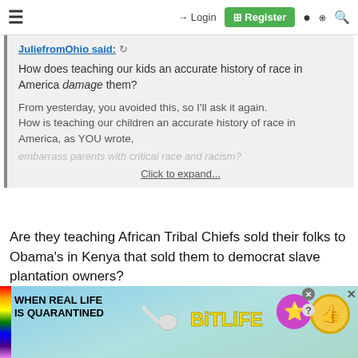≡   → Login   ⊞ Register   ● ☐ 🔍
JuliefromOhio said: ↺
How does teaching our kids an accurate history of race in America damage them?

From yesterday, you avoided this, so I'll ask it again.
How is teaching our children an accurate history of race in America, as YOU wrote,
[faded text] Click to expand...
Are they teaching African Tribal Chiefs sold their folks to Obama's in Kenya that sold them to democrat slave plantation owners?
If NOT the truth is not being taught.......
[Figure (screenshot): Advertisement banner: 'WHEN REAL LIFE IS QUARANTINED' with BitLife logo, sperm graphic, emoji characters, rainbow stripe, close buttons]